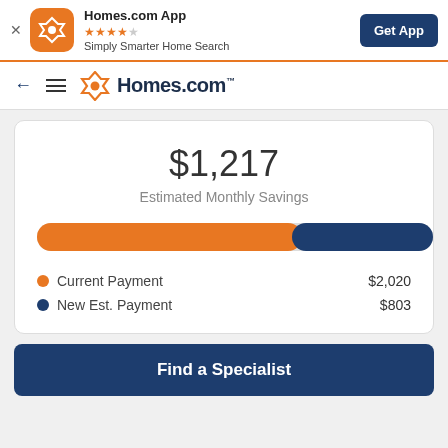[Figure (screenshot): App banner with Homes.com App icon, star rating, tagline, and Get App button]
[Figure (screenshot): Navigation bar with back arrow, hamburger menu, and Homes.com logo]
$1,217
Estimated Monthly Savings
[Figure (bar-chart): Current vs New Payment]
Current Payment $2,020
New Est. Payment $803
Find a Specialist